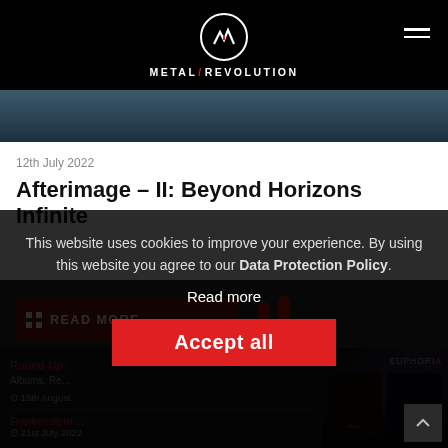METAL REVOLUTION
[Figure (screenshot): Article hero image strip showing dark teal/blue tones]
12th July 2022
Afterimage – II: Beyond Horizons Infinite
[Figure (illustration): Red rock-on hand gesture cursor icon]
READ MORE ...
This website uses cookies to improve your experience. By using this website you agree to our Data Protection Policy.
Read more
Accept all
15th August
21st July 2022